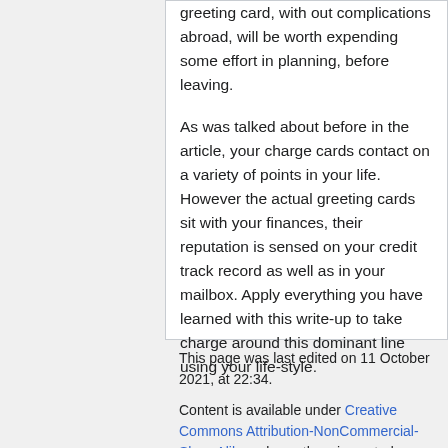greeting card, with out complications abroad, will be worth expending some effort in planning, before leaving.
As was talked about before in the article, your charge cards contact on a variety of points in your life. However the actual greeting cards sit with your finances, their reputation is sensed on your credit track record as well as in your mailbox. Apply everything you have learned with this write-up to take charge around this dominant line using your life-style.
This page was last edited on 11 October 2021, at 22:34.
Content is available under Creative Commons Attribution-NonCommercial-ShareAlike unless otherwise noted.